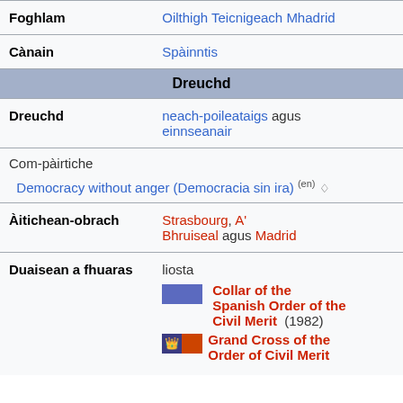| Foghlam | Oilthigh Teicnigeach Mhadrid |
| Cànain | Spàinntis |
| Dreuchd |  |
| Dreuchd | neach-poileataigs agus einnseanair |
| Com-pàirtiche | Democracy without anger (Democracia sin ira) (en) |
| Àitichean-obrach | Strasbourg, A' Bhruiseal agus Madrid |
| Duaisean a fhuaras | liosta: Collar of the Spanish Order of the Civil Merit (1982), Grand Cross of the Order of Civil Merit |